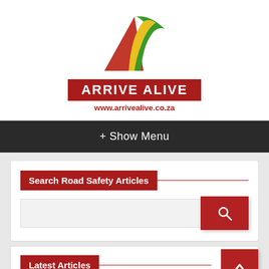[Figure (logo): Arrive Alive logo: triangular road graphic with red, yellow and green swooping curves, red banner with ARRIVE ALIVE text, and website URL www.arrivealive.co.za]
+ Show Menu
Search Road Safety Articles
[Figure (screenshot): Search input field with red search button containing magnifying glass icon]
Latest Articles